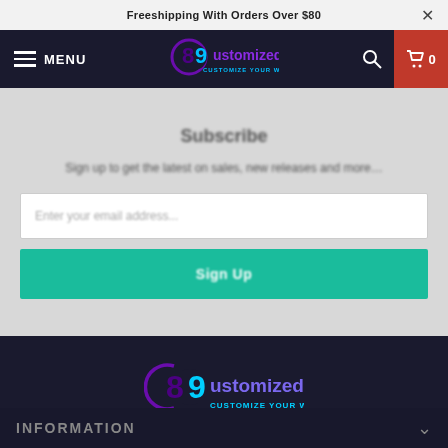Freeshipping With Orders Over $80
[Figure (screenshot): Navigation bar with hamburger menu icon, MENU text, 89ustomized logo, search icon, and red cart icon showing 0]
Subscribe
Sign up to get the latest on sales, new releases and more…
Enter your email address...
Sign Up
[Figure (logo): 89ustomized logo with CUSTOMIZE YOUR WORLD! tagline on dark background]
INFORMATION